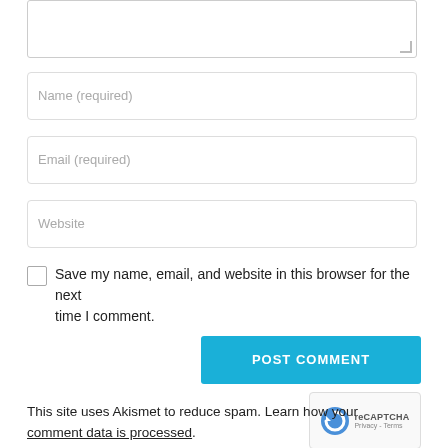[Figure (screenshot): Textarea input field (comment box) with resize handle at bottom right, partially visible at top of page]
Name (required)
Email (required)
Website
Save my name, email, and website in this browser for the next time I comment.
POST COMMENT
[Figure (logo): reCAPTCHA badge with spinning arrow logo and Privacy Terms text]
This site uses Akismet to reduce spam. Learn how your comment data is processed.